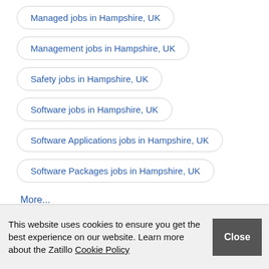Managed jobs in Hampshire, UK
Management jobs in Hampshire, UK
Safety jobs in Hampshire, UK
Software jobs in Hampshire, UK
Software Applications jobs in Hampshire, UK
Software Packages jobs in Hampshire, UK
More...
This website uses cookies to ensure you get the best experience on our website. Learn more about the Zatillo Cookie Policy